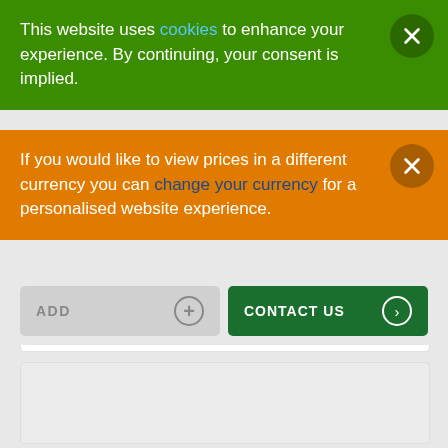This website uses cookies to enhance your experience. By continuing, your consent is implied.
If you would like to view prices in a different currency you can change your currency for a personalised website experience.
ADD
CONTACT US
[Figure (screenshot): Gray empty panel area below the button row]